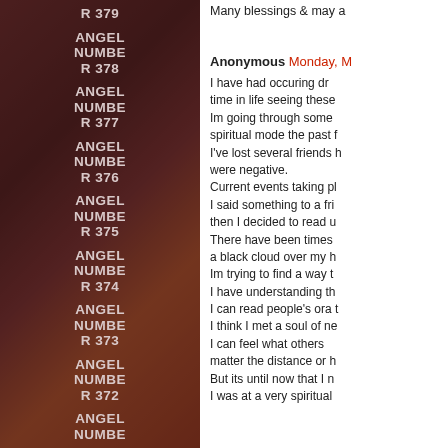ANGEL NUMBER 379
ANGEL NUMBER 378
ANGEL NUMBER 377
ANGEL NUMBER 376
ANGEL NUMBER 375
ANGEL NUMBER 374
ANGEL NUMBER 373
ANGEL NUMBER 372
ANGEL NUMBE
Many blessings & may a
Anonymous Monday, M

I have had occuring dr time in life seeing these Im going through some spiritual mode the past f I've lost several friends h were negative.
Current events taking pl I said something to a fri then I decided to read u There have been times a black cloud over my h Im trying to find a way t I have understanding th I can read people's ora t I think I met a soul of ne I can feel what others matter the distance or h But its until now that I n I was at a very spiritual